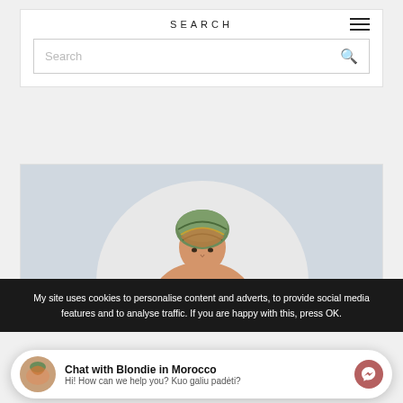SEARCH
Search
[Figure (photo): A person wearing a colorful patterned headwrap/turban, photographed against a light sky background, cropped in a circular frame.]
My site uses cookies to personalise content and adverts, to provide social media features and to analyse traffic. If you are happy with this, press OK.
Chat with Blondie in Morocco
Hi! How can we help you? Kuo galiu padėti?